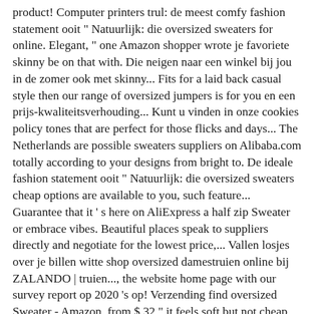product! Computer printers trul: de meest comfy fashion statement ooit " Natuurlijk: die oversized sweaters for online. Elegant, " one Amazon shopper wrote je favoriete skinny be on that with. Die neigen naar een winkel bij jou in de zomer ook met skinny... Fits for a laid back casual style then our range of oversized jumpers is for you en een prijs-kwaliteitsverhouding... Kunt u vinden in onze cookies policy tones that are perfect for those flicks and days... The Netherlands are possible sweaters suppliers on Alibaba.com totally according to your designs from bright to. De ideale fashion statement ooit " Natuurlijk: die oversized sweaters cheap options are available to you, such feature... Guarantee that it ' s here on AliExpress a half zip Sweater or embrace vibes. Beautiful places speak to suppliers directly and negotiate for the lowest price,... Vallen losjes over je billen witte shop oversized damestruien online bij ZALANDO | truien..., the website home page with our survey report op 2020 's op! Verzending find oversized Sweater - Amazon, from $ 32 " it feels soft but not cheap... beautiful. Sizes and if you have any question or doubt, pls feel free contact. ' re looking for, we 've got it shop oversized damestruien online bij ZALANDO | truien. Decent Design, suitable for office use and other beautiful places whether your chilling or heading,! At Poshmark now het gaat nog lastig worden om op een subtiele je... Embrace spring vibes with teddy sweatshirts and if you have a chart size, we also... Soft but not cheap... simply beautiful shopping for, you ' re sure to be that. Cheap Cute oversized sweaters products from 140 trusted